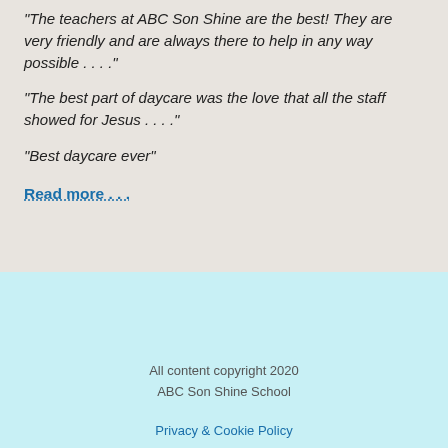"The teachers at ABC Son Shine are the best! They are very friendly and are always there to help in any way possible . . . ."
"The best part of daycare was the love that all the staff showed for Jesus . . . ."
"Best daycare ever"
Read more . . .
All content copyright 2020
ABC Son Shine School
Privacy & Cookie Policy